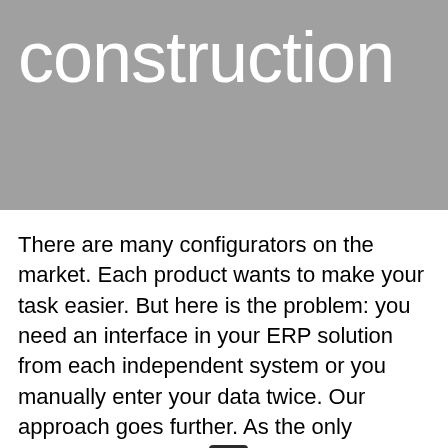construction
There are many configurators on the market. Each product wants to make your task easier. But here is the problem: you need an interface in your ERP solution from each independent system or you manually enter your data twice. Our approach goes further. As the only software in the glas[s industry], we are offering you a complete [solution]...